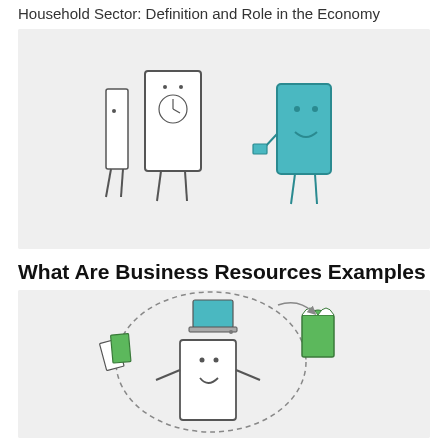Household Sector: Definition and Role in the Economy
[Figure (illustration): Cartoon illustration of anthropomorphic book/tablet characters standing and interacting on a light gray background. Two white/gray book characters on the left face a teal/blue tablet character on the right.]
What Are Business Resources Examples
[Figure (illustration): Cartoon illustration on light gray background showing anthropomorphic characters: a white book character with a smile, surrounded by green book characters and a laptop, connected by a dashed circular arrow, suggesting resource sharing or a cycle.]